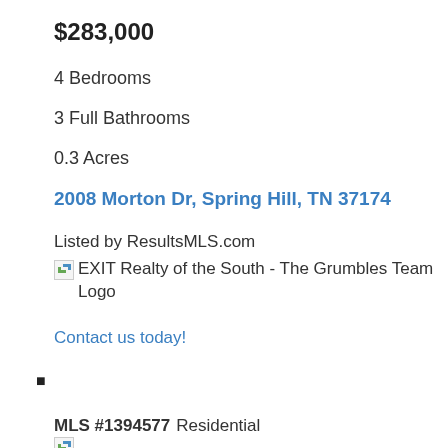$283,000
4 Bedrooms
3 Full Bathrooms
0.3 Acres
2008 Morton Dr, Spring Hill, TN 37174
Listed by ResultsMLS.com
[Figure (logo): EXIT Realty of the South - The Grumbles Team Logo (broken image placeholder)]
Contact us today!
■
MLS #1394577 Residential
[Figure (logo): Broken image placeholder at bottom]